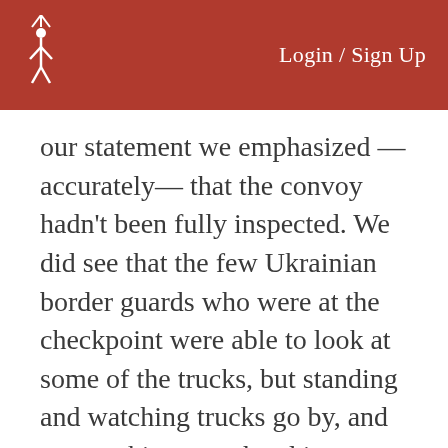Login / Sign Up
our statement we emphasized —accurately— that the convoy hadn't been fully inspected. We did see that the few Ukrainian border guards who were at the checkpoint were able to look at some of the trucks, but standing and watching trucks go by, and even poking your head into them does not constitute a full inspection.